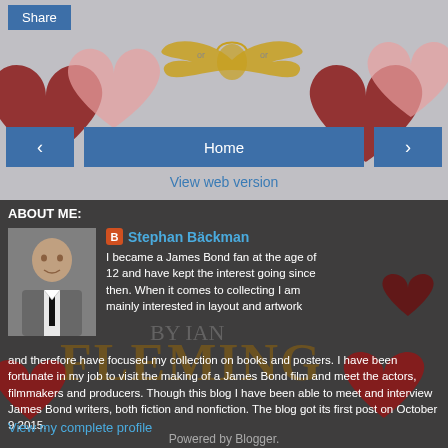[Figure (screenshot): Top navigation section with Share button, navigation arrows and Home button, heart and winged decorations on gray background]
View web version
ABOUT ME:
[Figure (photo): Profile photo of Stephan Bäckman, a man in a suit]
Stephan Bäckman
I became a James Bond fan at the age of 12 and have kept the interest going since then. When it comes to collecting I am mainly interested in layout and artwork and therefore have focused my collection on books and posters. I have been fortunate in my job to visit the making of a James Bond film and meet the actors, filmmakers and producers. Though this blog I have been able to meet and interview James Bond writers, both fiction and nonfiction. The blog got its first post on October 9 2015.
View my complete profile
Powered by Blogger.